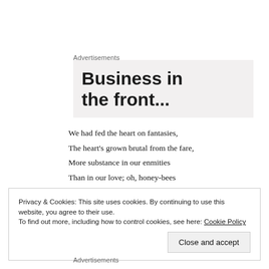Advertisements
[Figure (other): Advertisement box with large bold text reading 'Business in the front...' on a light gray background]
We had fed the heart on fantasies,
The heart's grown brutal from the fare,
More substance in our enmities
Than in our love; oh, honey-bees
Privacy & Cookies: This site uses cookies. By continuing to use this website, you agree to their use.
To find out more, including how to control cookies, see here: Cookie Policy
Advertisements